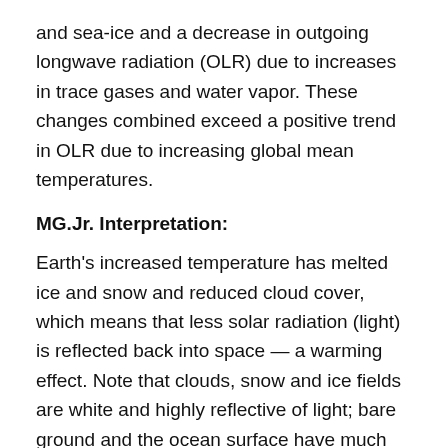and sea-ice and a decrease in outgoing longwave radiation (OLR) due to increases in trace gases and water vapor. These changes combined exceed a positive trend in OLR due to increasing global mean temperatures.
MG.Jr. Interpretation:
Earth's increased temperature has melted ice and snow and reduced cloud cover, which means that less solar radiation (light) is reflected back into space — a warming effect. Note that clouds, snow and ice fields are white and highly reflective of light; bare ground and the ocean surface have much lower reflectivity. Planet Earth's net reflectivity is called the albedo; and it has decreased.
Even though the increased average global temperature has warmed — stored heat in — the oceans (a 91% effect, nearly 8% on the land and ice) and the warmer...